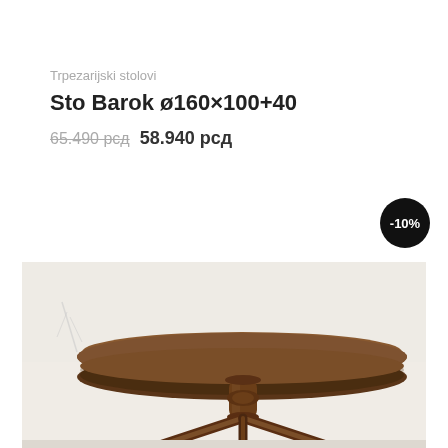Trpezarijski stolovi
Sto Barok ø160×100+40
65.490 рсд  58.940 рсд
[Figure (photo): A round dark-wood dining table with a pedestal base and tripod legs, photographed against a white wall background. The product is Sto Barok ø160×100+40.]